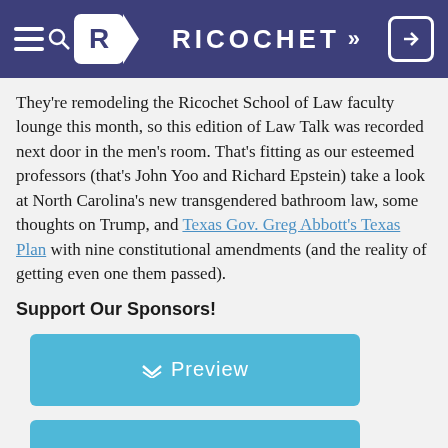RICOCHET
They're remodeling the Ricochet School of Law faculty lounge this month, so this edition of Law Talk was recorded next door in the men's room. That's fitting as our esteemed professors (that's John Yoo and Richard Epstein) take a look at North Carolina's new transgendered bathroom law, some thoughts on Trump, and Texas Gov. Greg Abbott's Texas Plan with nine constitutional amendments (and the reality of getting even one them passed).
Support Our Sponsors!
[Figure (other): Blue button labeled 'Preview' with a chevron-down icon]
[Figure (other): Blue button labeled 'Open' with a book icon]